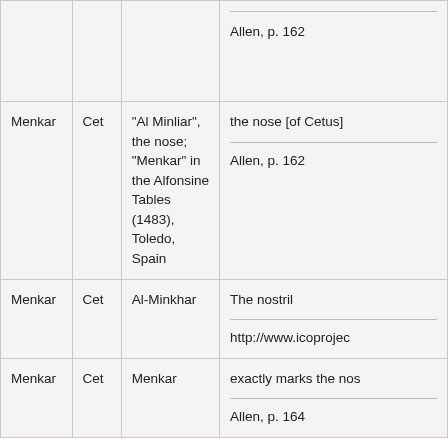| Star Name | Constellation | Etymology / Notes | Meaning / Source |
| --- | --- | --- | --- |
|  |  |  | Allen, p. 162 |
| Menkar | Cet | "Al Minliar", the nose; "Menkar" in the Alfonsine Tables (1483), Toledo, Spain | the nose [of Cetus]
Allen, p. 162 |
| Menkar | Cet | Al-Minkhar | The nostril
http://www.icoproje... |
| Menkar | Cet | Menkar | exactly marks the no...
Allen, p. 164 |